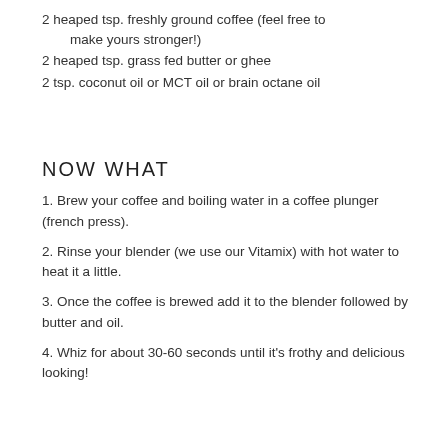2 heaped tsp. freshly ground coffee (feel free to make yours stronger!)
2 heaped tsp. grass fed butter or ghee
2 tsp. coconut oil or MCT oil or brain octane oil
NOW WHAT
1. Brew your coffee and boiling water in a coffee plunger (french press).
2. Rinse your blender (we use our Vitamix) with hot water to heat it a little.
3. Once the coffee is brewed add it to the blender followed by butter and oil.
4. Whiz for about 30-60 seconds until it's frothy and delicious looking!